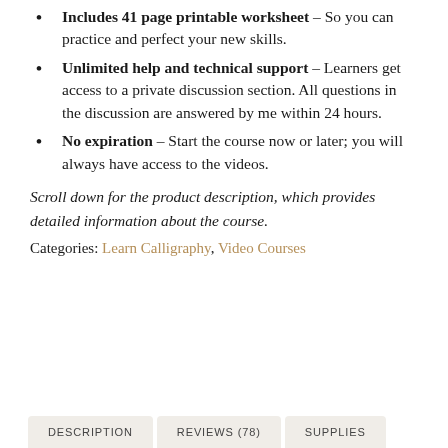Includes 41 page printable worksheet – So you can practice and perfect your new skills.
Unlimited help and technical support – Learners get access to a private discussion section. All questions in the discussion are answered by me within 24 hours.
No expiration – Start the course now or later; you will always have access to the videos.
Scroll down for the product description, which provides detailed information about the course.
Categories: Learn Calligraphy, Video Courses
DESCRIPTION   REVIEWS (78)   SUPPLIES